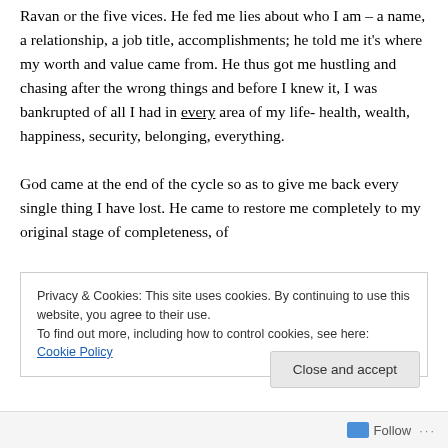Ravan or the five vices. He fed me lies about who I am – a name, a relationship, a job title, accomplishments; he told me it's where my worth and value came from. He thus got me hustling and chasing after the wrong things and before I knew it, I was bankrupted of all I had in every area of my life- health, wealth, happiness, security, belonging, everything.

God came at the end of the cycle so as to give me back every single thing I have lost. He came to restore me completely to my original stage of completeness, of
Privacy & Cookies: This site uses cookies. By continuing to use this website, you agree to their use.
To find out more, including how to control cookies, see here: Cookie Policy
Close and accept
Follow